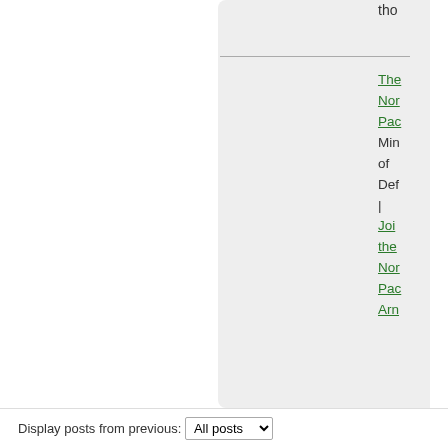[Figure (screenshot): A web forum/blog page screenshot showing a gray rounded content panel on the left-center, and a partially visible right sidebar with green hyperlinks, text snippets about 'The North Pacific', 'Join the North Pacific Army', '12 SC', 'Killed of State' entries, buttons labeled 'WS' and 'Eq', and a circular icon. At the bottom is a 'Display posts from previous: All posts' dropdown bar.]
Display posts from previous: All posts